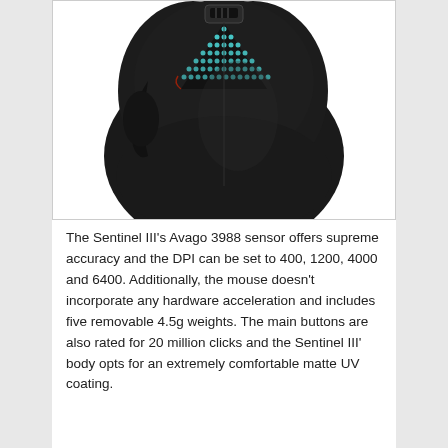[Figure (photo): Top-down view of a black gaming mouse (Sentinel III) with a triangular LED/dot pattern on the top surface and a scroll wheel visible at the top.]
The Sentinel III's Avago 3988 sensor offers supreme accuracy and the DPI can be set to 400, 1200, 4000 and 6400. Additionally, the mouse doesn't incorporate any hardware acceleration and includes five removable 4.5g weights. The main buttons are also rated for 20 million clicks and the Sentinel III' body opts for an extremely comfortable matte UV coating.